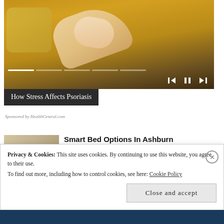[Figure (screenshot): Video player showing a person in a yellow sweater, with media controls (skip back, pause, skip forward) and progress bar segments visible]
How Stress Affects Psoriasis
Sponsored by HealthCentral.com
[Figure (photo): Photo of a smart adjustable bed]
Smart Bed Options In Ashburn
Smart Bed | Search Ads
Privacy & Cookies: This site uses cookies. By continuing to use this website, you agree to their use.
To find out more, including how to control cookies, see here: Cookie Policy
Close and accept